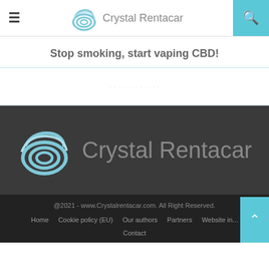Crystal Rentacar
Stop smoking, start vaping CBD!
[Figure (other): Faded/blurred content area beneath the title]
[Figure (logo): Crystal Rentacar logo large on dark footer background]
@2021 - www.Crystalrentacar.com. All Right Reserved.
Home  Cookie policy (EU)  Our authors  Partners  Website in...  Contact